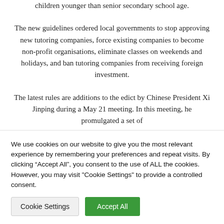children younger than senior secondary school age.
The new guidelines ordered local governments to stop approving new tutoring companies, force existing companies to become non-profit organisations, eliminate classes on weekends and holidays, and ban tutoring companies from receiving foreign investment.
The latest rules are additions to the edict by Chinese President Xi Jinping during a May 21 meeting. In this meeting, he promulgated a set of
We use cookies on our website to give you the most relevant experience by remembering your preferences and repeat visits. By clicking “Accept All”, you consent to the use of ALL the cookies. However, you may visit "Cookie Settings" to provide a controlled consent.